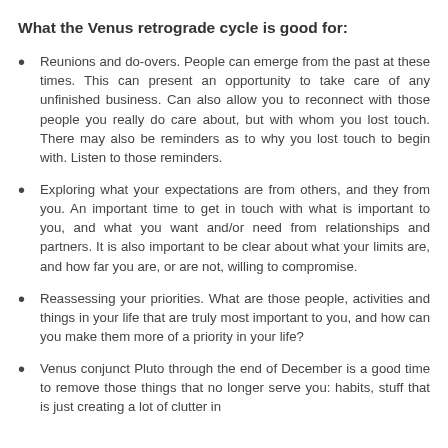What the Venus retrograde cycle is good for:
Reunions and do-overs. People can emerge from the past at these times. This can present an opportunity to take care of any unfinished business. Can also allow you to reconnect with those people you really do care about, but with whom you lost touch. There may also be reminders as to why you lost touch to begin with. Listen to those reminders.
Exploring what your expectations are from others, and they from you. An important time to get in touch with what is important to you, and what you want and/or need from relationships and partners. It is also important to be clear about what your limits are, and how far you are, or are not, willing to compromise.
Reassessing your priorities. What are those people, activities and things in your life that are truly most important to you, and how can you make them more of a priority in your life?
Venus conjunct Pluto through the end of December is a good time to remove those things that no longer serve you: habits, stuff that is just creating a lot of clutter in